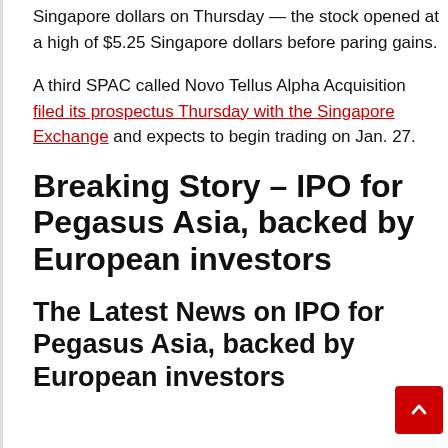Singapore dollars on Thursday — the stock opened at a high of $5.25 Singapore dollars before paring gains.
A third SPAC called Novo Tellus Alpha Acquisition filed its prospectus Thursday with the Singapore Exchange and expects to begin trading on Jan. 27.
Breaking Story – IPO for Pegasus Asia, backed by European investors
The Latest News on IPO for Pegasus Asia, backed by European investors